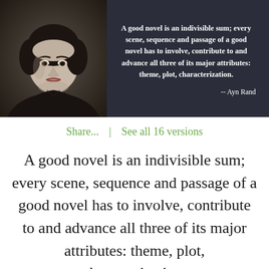[Figure (photo): Black and white portrait photograph of Ayn Rand, a woman with short dark hair, wearing a dark top, posed with arms crossed, looking at the camera.]
A good novel is an indivisible sum; every scene, sequence and passage of a good novel has to involve, contribute to and advance all three of its major attributes: theme, plot, characterization.
-- Ayn Rand
Share...  |  See all 16 versions
A good novel is an indivisible sum; every scene, sequence and passage of a good novel has to involve, contribute to and advance all three of its major attributes: theme, plot, characterization.